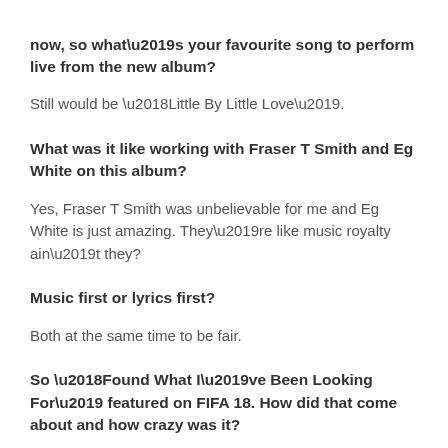now, so what's your favourite song to perform live from the new album?
Still would be ‘Little By Little Love’.
What was it like working with Fraser T Smith and Eg White on this album?
Yes, Fraser T Smith was unbelievable for me and Eg White is just amazing. They’re like music royalty ain’t they?
Music first or lyrics first?
Both at the same time to be fair.
So ‘Found What I’ve Been Looking For’ featured on FIFA 18. How did that come about and how crazy was it?